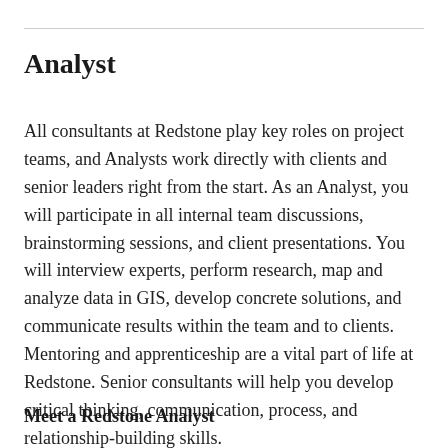Analyst
All consultants at Redstone play key roles on project teams, and Analysts work directly with clients and senior leaders right from the start. As an Analyst, you will participate in all internal team discussions, brainstorming sessions, and client presentations. You will interview experts, perform research, map and analyze data in GIS, develop concrete solutions, and communicate results within the team and to clients. Mentoring and apprenticeship are a vital part of life at Redstone. Senior consultants will help you develop critical thinking, communication, process, and relationship-building skills.
Meet a Redstone Analyst